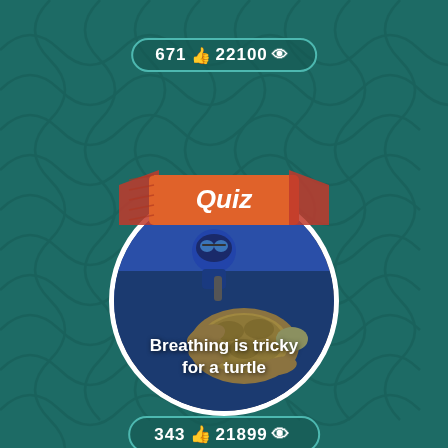671 👍 22100 👁
[Figure (illustration): Orange quiz ribbon banner with the word 'Quiz' in white italic text]
[Figure (photo): Circular card showing a scuba diver with goggles and a sea turtle underwater, with text overlay 'Breathing is tricky for a turtle']
Breathing is tricky for a turtle
343 👍 21899 👁
[Figure (photo): Circular card showing a nature/animal scene with green vegetation and brown terrain, with text overlay 'What is a food chain?']
What is a food chain?